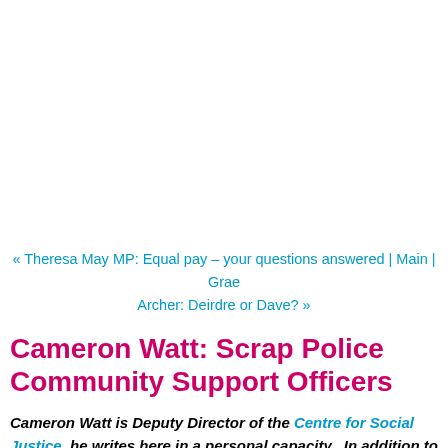« Theresa May MP: Equal pay – your questions answered | Main | Graeme Archer: Deirdre or Dave? »
Cameron Watt: Scrap Police Community Support Officers
Cameron Watt is Deputy Director of the Centre for Social Justice, he writes here in a personal capacity.  In addition to his call to scrap the 'plastic police' he remembers some unhappy Blackpool experiences.
The failure of two police community support officers (PCSOs) to attempt a rescue of ten-year-old Jordon Lyon from a pond in Wigan has caused an national o